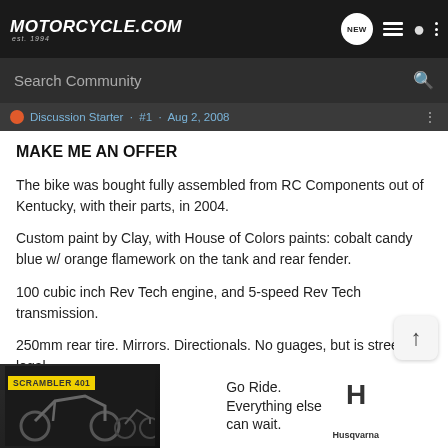Motorcycle.com est. 1994 — Navigation icons: NEW, list, user, menu
Search Community
Discussion Starter · #1 · Aug 2, 2008
MAKE ME AN OFFER
The bike was bought fully assembled from RC Components out of Kentucky, with their parts, in 2004.
Custom paint by Clay, with House of Colors paints: cobalt candy blue w/ orange flamework on the tank and rear fender.
100 cubic inch Rev Tech engine, and 5-speed Rev Tech transmission.
250mm rear tire. Mirrors. Directionals. No guages, but is street-legal.
[Figure (photo): Advertisement banner at bottom showing two motorcycles with Husqvarna branding and text 'Go Ride. Everything else can wait.']